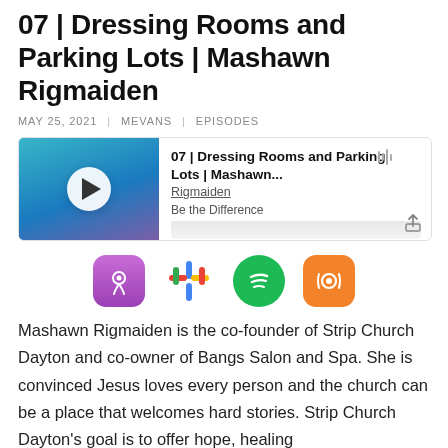07 | Dressing Rooms and Parking Lots | Mashawn Rigmaiden
MAY 25, 2021  |  MEVANS  |  EPISODES
[Figure (screenshot): Podcast embed player showing episode '07 | Dressing Rooms and Parking Lots | Mashawn... Rigmaiden' from 'Be the Difference' with play button and progress bar]
[Figure (infographic): Podcast platform icons: Apple Podcasts, Google Podcasts, Spotify, Overcast]
Mashawn Rigmaiden is the co-founder of Strip Church Dayton and co-owner of Bangs Salon and Spa. She is convinced Jesus loves every person and the church can be a place that welcomes hard stories. Strip Church Dayton's goal is to offer hope, healing